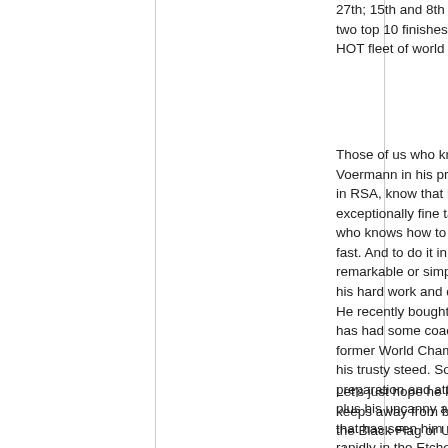27th; 15th and 8th – so he now has two top 10 finishes in an extremely HOT fleet of world class sailors.
Those of us who know, or knew Voermann in his prime when sailing in RSA, know that he is an exceptionally fine talented sailor who knows how to make a boat go fast. And to do it in this fleet is not remarkable or simply luck – it's to his hard work and dedication too. He recently bought a top boat and has had some coaching from the former World Champ who sold him his trusty steed. So it's his preparation and attention to detail, plus his uncanny ability to sail fast that has seen him rise rather rapidly in the Etchells fleet.
Let's just hope he keeps it up and keeps away from being pinged on the Black Flag or U-Flag at the start.